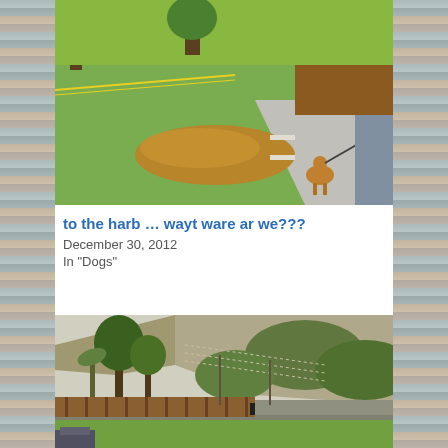[Figure (photo): Outdoor park scene with a dog on a leash standing on a path, fallen leaves on grass, yellow caution tape fencing off an area, trees in background]
to the harb … wayt ware ar we???
December 30, 2012
In "Dogs"
[Figure (photo): Hillside landscape with green vegetation, retaining walls, fencing, and trees against a large rocky hill in the background]